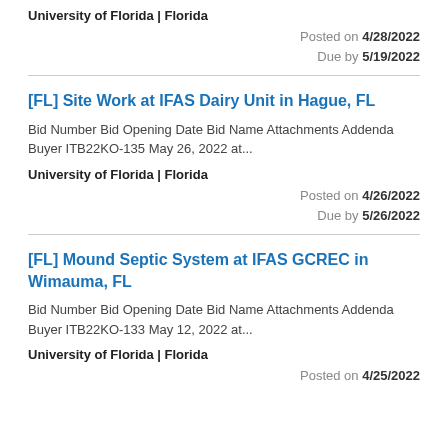University of Florida | Florida
Posted on 4/28/2022
Due by 5/19/2022
[FL] Site Work at IFAS Dairy Unit in Hague, FL
Bid Number Bid Opening Date Bid Name Attachments Addenda Buyer ITB22KO-135 May 26, 2022 at...
University of Florida | Florida
Posted on 4/26/2022
Due by 5/26/2022
[FL] Mound Septic System at IFAS GCREC in Wimauma, FL
Bid Number Bid Opening Date Bid Name Attachments Addenda Buyer ITB22KO-133 May 12, 2022 at...
University of Florida | Florida
Posted on 4/25/2022